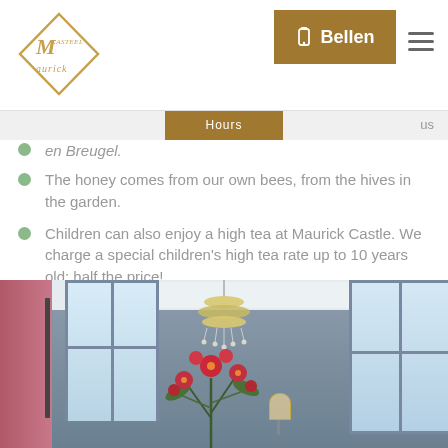[Figure (screenshot): Maurick Castle website header with logo on left, golden 'Bellen' (call) button with phone icon, and hamburger menu icon on the right]
en Breugel.
The honey comes from our own bees, from the hives in the garden.
Children can also enjoy a high tea at Maurick Castle. We charge a special children's high tea rate up to 10 years old: half the price!
Incidentally, it is also possible to purchase a high tea gift voucher. The perfect gift to give and to receive.
[Figure (photo): Interior of Maurick Castle showing an elegant room with blue walls, white ornate ceiling, crystal chandelier, pink curtains, large windows, and a floral arrangement on a table]